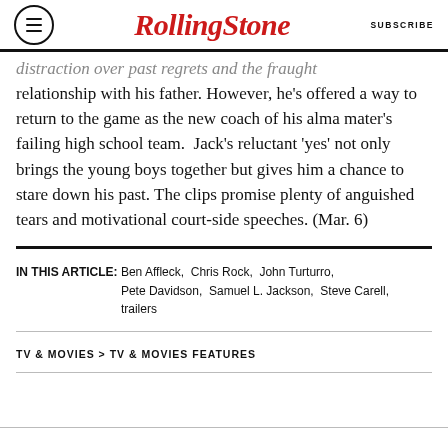RollingStone | SUBSCRIBE
distraction over past regrets and the fraught relationship with his father. However, he's offered a way to return to the game as the new coach of his alma mater's failing high school team.  Jack's reluctant 'yes' not only brings the young boys together but gives him a chance to stare down his past. The clips promise plenty of anguished tears and motivational court-side speeches. (Mar. 6)
IN THIS ARTICLE: Ben Affleck, Chris Rock, John Turturro, Pete Davidson, Samuel L. Jackson, Steve Carell, trailers
TV & MOVIES > TV & MOVIES FEATURES